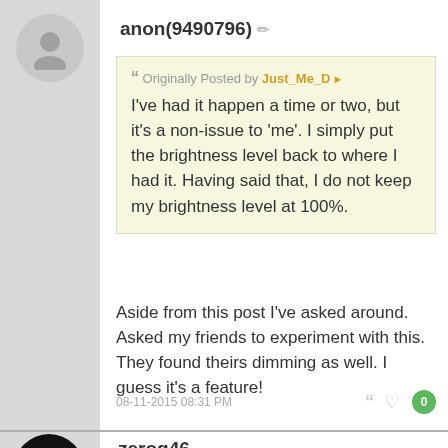anon(9490796)
Originally Posted by Just_Me_D
I've had it happen a time or two, but it's a non-issue to 'me'. I simply put the brightness level back to where I had it. Having said that, I do not keep my brightness level at 100%.
Aside from this post I've asked around. Asked my friends to experiment with this. They found theirs dimming as well. I guess it's a feature!
08-11-2015 08:31 PM
zerog46
Never had it happen but I use auto brightness